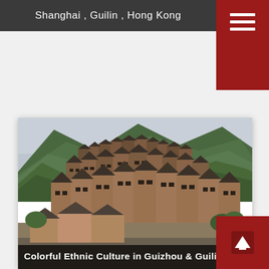Shanghai , Guilin , Hong Kong
[Figure (photo): Traditional wooden multi-story houses of a Chinese ethnic minority village built on a steep hillside, with forested mountains behind. The buildings are densely packed, several stories tall, with dark wood construction and tiered roofs.]
Colorful Ethnic Culture in Guizhou & Guilin